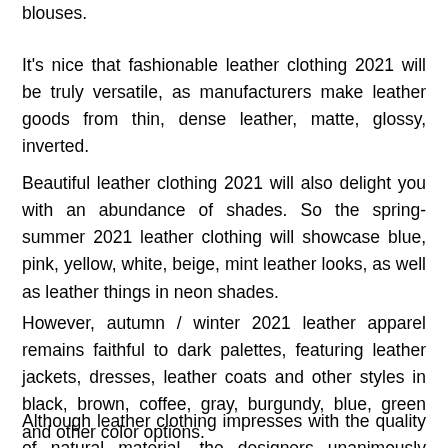blouses.
It's nice that fashionable leather clothing 2021 will be truly versatile, as manufacturers make leather goods from thin, dense leather, matte, glossy, inverted.
Beautiful leather clothing 2021 will also delight you with an abundance of shades. So the spring-summer 2021 leather clothing will showcase blue, pink, yellow, white, beige, mint leather looks, as well as leather things in neon shades.
However, autumn / winter 2021 leather apparel remains faithful to dark palettes, featuring leather jackets, dresses, leather coats and other styles in black, brown, coffee, gray, burgundy, blue, green and other color options.
Although leather clothing impresses with the quality of natural material, the designers unanimously declare that leather